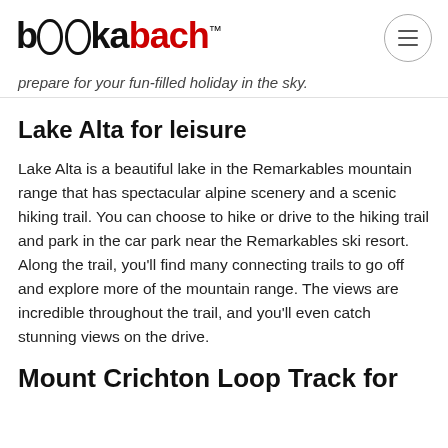bookabach™
prepare for your fun-filled holiday in the sky.
Lake Alta for leisure
Lake Alta is a beautiful lake in the Remarkables mountain range that has spectacular alpine scenery and a scenic hiking trail. You can choose to hike or drive to the hiking trail and park in the car park near the Remarkables ski resort. Along the trail, you'll find many connecting trails to go off and explore more of the mountain range. The views are incredible throughout the trail, and you'll even catch stunning views on the drive.
Mount Crichton Loop Track for